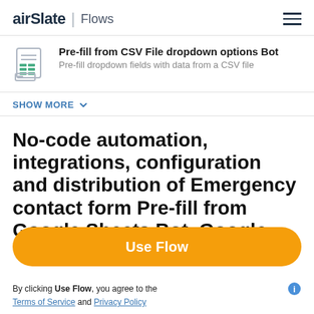airSlate | Flows
Pre-fill from CSV File dropdown options Bot
Pre-fill dropdown fields with data from a CSV file
SHOW MORE
No-code automation, integrations, configuration and distribution of Emergency contact form Pre-fill from Google Sheets Bot, Google Calendar Bot
Use Flow
By clicking Use Flow, you agree to the Terms of Service and Privacy Policy